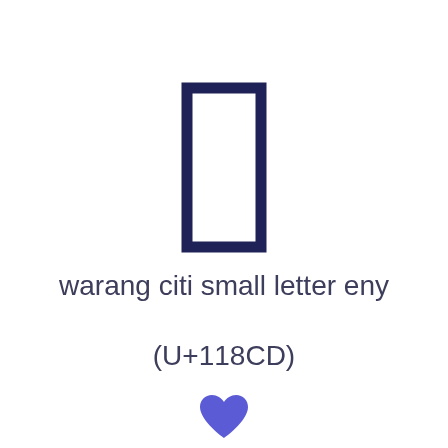[Figure (illustration): A tall narrow rectangle with thick dark navy border, representing the Warang Citi small letter eny unicode character glyph]
warang citi small letter eny
(U+118CD)
[Figure (illustration): A blue/purple heart icon]